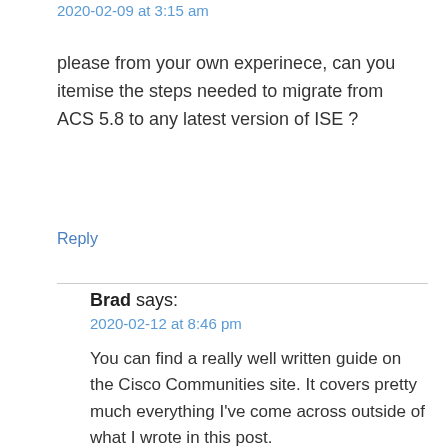2020-02-09 at 3:15 am
please from your own experinece, can you itemise the steps needed to migrate from ACS 5.8 to any latest version of ISE ?
Reply
Brad says:
2020-02-12 at 8:46 pm
You can find a really well written guide on the Cisco Communities site. It covers pretty much everything I've come across outside of what I wrote in this post.
https://community.cisco.com/t5/security-